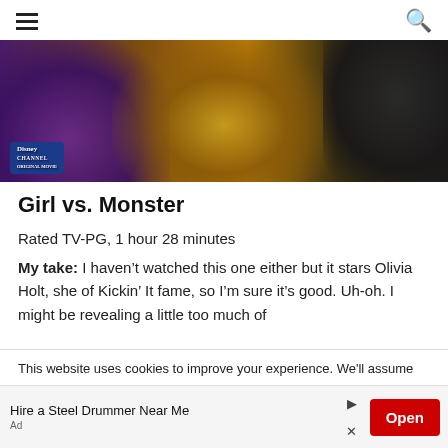Menu / Search
[Figure (photo): Disney Channel Original Movie promotional banner for Girl vs. Monster showing a green monster claw, a haunted house, and a girl in black pants, with Disney Channel Original Movie logo in bottom left]
Girl vs. Monster
Rated TV-PG, 1 hour 28 minutes
My take: I haven't watched this one either but it stars Olivia Holt, she of Kickin' It fame, so I'm sure it's good. Uh-oh. I might be revealing a little too much of
This website uses cookies to improve your experience. We'll assume
Hire a Steel Drummer Near Me
Ad
Open